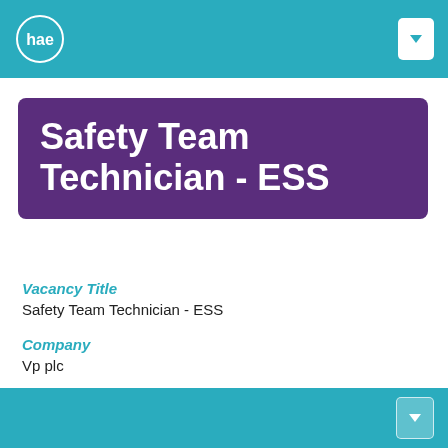hae
Safety Team Technician - ESS
Vacancy Title
Safety Team Technician - ESS
Company
Vp plc
Division
ESS
Location
Wellingborough